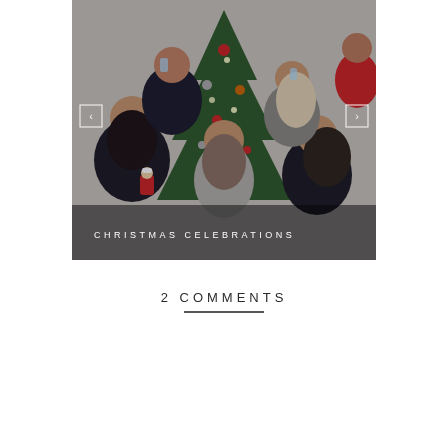[Figure (photo): A group of people celebrating Christmas in front of a decorated Christmas tree. Several young women in the foreground, adults in the background raising glasses. An overlay text reads 'CHRISTMAS CELEBRATIONS'. Navigation arrows (< >) are visible on left and right sides of the image.]
2 COMMENTS